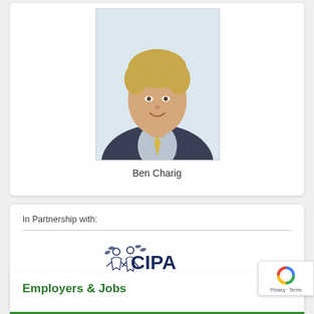[Figure (photo): Professional headshot of Ben Charig, a young man with blonde hair wearing a dark suit and yellow tie, against a light blue background]
Ben Charig
In Partnership with:
[Figure (logo): CIPA logo with stylized tree/people graphic and the text CIPA in dark navy blue]
Employers & Jobs